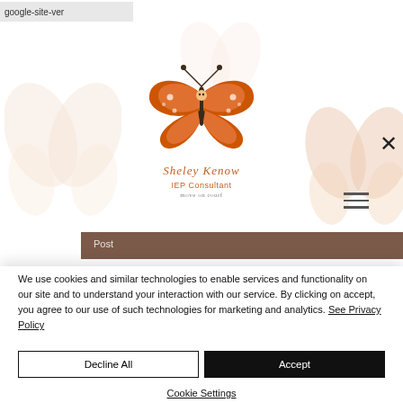google-site-ver
[Figure (logo): Sheley Kenow IEP Consultant butterfly logo with orange monarch butterfly and cursive text]
[Figure (other): Hamburger menu icon (three horizontal lines)]
We use cookies and similar technologies to enable services and functionality on our site and to understand your interaction with our service. By clicking on accept, you agree to our use of such technologies for marketing and analytics. See Privacy Policy
Decline All
Accept
Cookie Settings